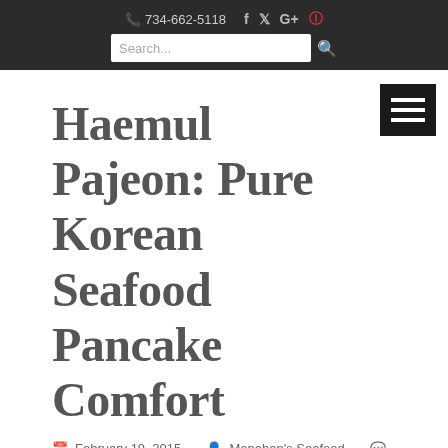📞 734-662-5118  f  🐦  G+  🔴  Search...  🔍
Haemul Pajeon: Pure Korean Seafood Pancake Comfort
February 19, 2015  Monahan's Seafood  0 Comment  Blog
The bitter cold of this past week has been offset and made tolerable by preparing delicious, spicy Korean food every night. Last Sunday my daughters, Kimmy and Sarah